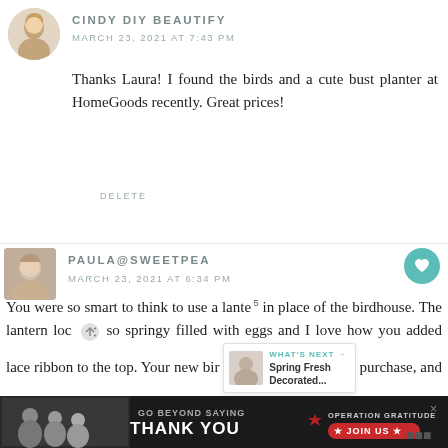[Figure (photo): Avatar photo of Cindy DIY Beautify, circular crop, blonde woman]
CINDY DIY BEAUTIFY
MARCH 23, 2021 AT 7:43 PM
Thanks Laura! I found the birds and a cute bust planter at HomeGoods recently. Great prices!
DELETE
[Figure (photo): Avatar photo of Paula@Sweetpea, rectangular crop, woman with light hair]
PAULA@SWEETPEA
MARCH 23, 2021 AT 6:34 PM
You were so smart to think to use a lantern in place of the birdhouse. The lantern looks so springy filled with eggs and I love how you added lace ribbon to the top. Your new bir... purchase, and like you said, you... anywhere in your home for a decoration. I am ...herringbone...
[Figure (infographic): Advertisement bar: GO BEYOND SAYING THANK YOU - Operation Gratitude JOIN US]